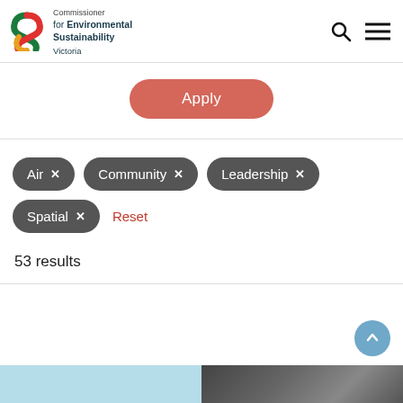Commissioner for Environmental Sustainability Victoria
Apply
Air ×
Community ×
Leadership ×
Spatial ×
Reset
53 results
[Figure (screenshot): Bottom strip with light blue and dark photo sections]